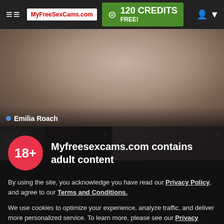MyFreeSexCams.com | 120 CREDITS FREE!
[Figure (screenshot): Blurred background webcam stream image with streamer name 'Emilia Roach' overlaid at bottom left]
[Figure (screenshot): Two thumbnail webcam stream previews side by side]
Myfreesexcams.com contains adult content
By using the site, you acknowledge you have read our Privacy Policy, and agree to our Terms and Conditions.
We use cookies to optimize your experience, analyze traffic, and deliver more personalized service. To learn more, please see our Privacy Policy.
I AGREE